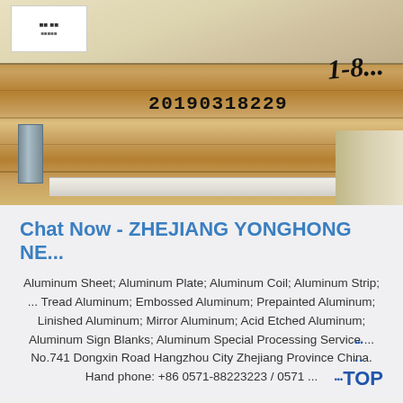[Figure (photo): Close-up photo of aluminum sheets or plates stacked on a wooden pallet/crate. A stamped serial number '20190318229' is visible on the wood. A handwritten signature or number is visible in the upper right. A metal bracket and white strap are visible at the lower left.]
Chat Now - ZHEJIANG YONGHONG NE...
Aluminum Sheet; Aluminum Plate; Aluminum Coil; Aluminum Strip; ... Tread Aluminum; Embossed Aluminum; Prepainted Aluminum; Linished Aluminum; Mirror Aluminum; Acid Etched Aluminum; Aluminum Sign Blanks; Aluminum Special Processing Service ... No.741 Dongxin Road Hangzhou City Zhejiang Province China. Hand phone: +86 0571-88223223 / 0571 ...